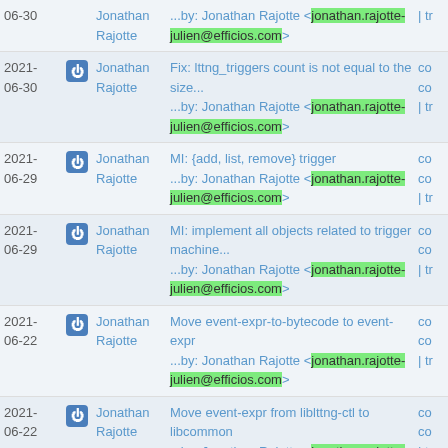| Date |  | Author | Message |  |
| --- | --- | --- | --- | --- |
| 06-30 |  | Jonathan Rajotte | ...by: Jonathan Rajotte <jonathan.rajotte-julien@efficios.com> | | tr |
| 2021-06-30 |  | Jonathan Rajotte | Fix: lttng_triggers count is not equal to the size...
...by: Jonathan Rajotte <jonathan.rajotte-julien@efficios.com> | co
co
| tr |
| 2021-06-29 |  | Jonathan Rajotte | MI: {add, list, remove} trigger
...by: Jonathan Rajotte <jonathan.rajotte-julien@efficios.com> | co
co
| tr |
| 2021-06-29 |  | Jonathan Rajotte | MI: implement all objects related to trigger machine...
...by: Jonathan Rajotte <jonathan.rajotte-julien@efficios.com> | co
co
| tr |
| 2021-06-22 |  | Jonathan Rajotte | Move event-expr-to-bytecode to event-expr
...by: Jonathan Rajotte <jonathan.rajotte-julien@efficios.com> | co
co
| tr |
| 2021-06-22 |  | Jonathan Rajotte | Move event-expr from liblttng-ctl to libcommon
...by: Jonathan Rajotte <jonathan.rajotte-julien@efficios.com> | co
co
| tr |
| 2021-06-22 |  | Jonathan Rajotte | MI: support double element
...by: Jonathan Rajotte <jonathan.rajotte-julien@efficios.com> | co
| tr |